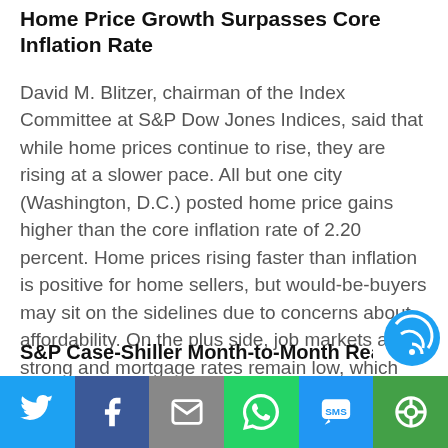Home Price Growth Surpasses Core Inflation Rate
David M. Blitzer, chairman of the Index Committee at S&P Dow Jones Indices, said that while home prices continue to rise, they are rising at a slower pace. All but one city (Washington, D.C.) posted home price gains higher than the core inflation rate of 2.20 percent. Home prices rising faster than inflation is positive for home sellers, but would-be-buyers may sit on the sidelines due to concerns about affordability. On the plus side, job markets are strong and mortgage rates remain low, which will likely encourage more first-time and moderate income buyers to enter the market.
S&P Case-Shiller Month-to-Month Readings
[Figure (infographic): Social media share bar with Twitter, Facebook, Email, WhatsApp, SMS, and More buttons]